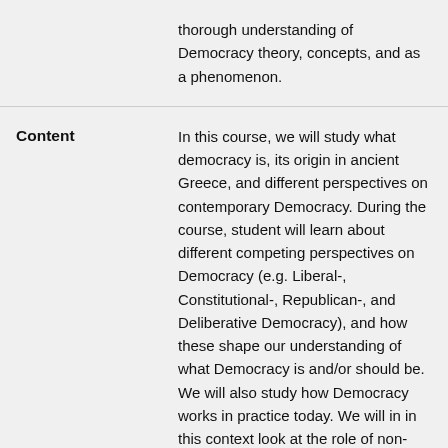thorough understanding of Democracy theory, concepts, and as a phenomenon.
Content
In this course, we will study what democracy is, its origin in ancient Greece, and different perspectives on contemporary Democracy. During the course, student will learn about different competing perspectives on Democracy (e.g. Liberal-, Constitutional-, Republican-, and Deliberative Democracy), and how these shape our understanding of what Democracy is and/or should be. We will also study how Democracy works in practice today. We will in in this context look at the role of non-governmental organisation (e.g. media,